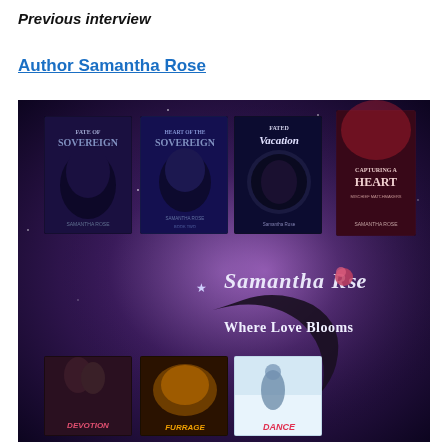Previous interview
Author Samantha Rose
[Figure (illustration): Promotional collage image for author Samantha Rose showing book covers (Fate of Sovereign, Heart of the Sovereign, Fated Vacation, Capturing a Heart) on a purple galaxy background with the Samantha Rose author brand logo reading 'Where Love Blooms', and three more book covers at the bottom (Devotion, Furrage, Dance).]